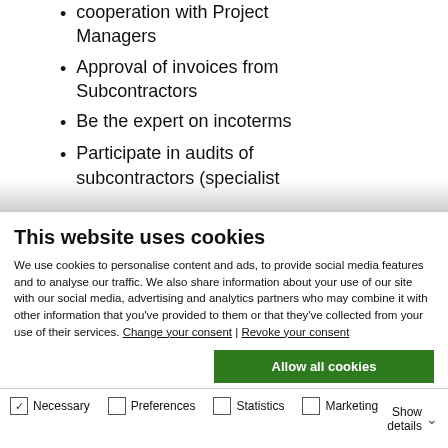cooperation with Project Managers
Approval of invoices from Subcontractors
Be the expert on incoterms
Participate in audits of subcontractors (specialist
This website uses cookies
We use cookies to personalise content and ads, to provide social media features and to analyse our traffic. We also share information about your use of our site with our social media, advertising and analytics partners who may combine it with other information that you've provided to them or that they've collected from your use of their services. Change your consent | Revoke your consent
Allow all cookies
Allow selection
Use necessary cookies only
Necessary  Preferences  Statistics  Marketing  Show details